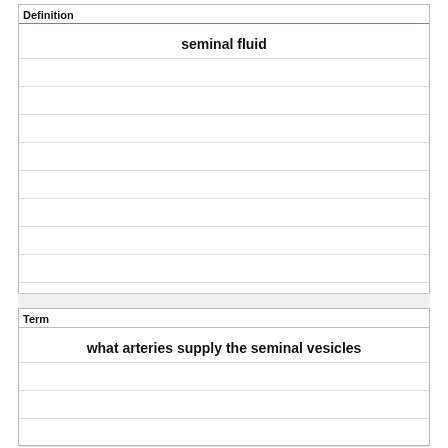Definition
seminal fluid
Term
what arteries supply the seminal vesicles